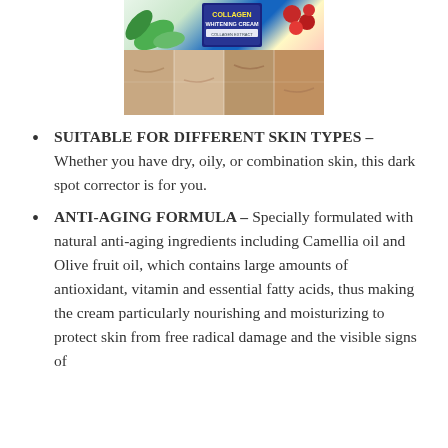[Figure (photo): Product image of Collagen Whitening Cream with plant leaves and berries on top, and a collage of skin close-up photos showing various skin conditions below.]
SUITABLE FOR DIFFERENT SKIN TYPES – Whether you have dry, oily, or combination skin, this dark spot corrector is for you.
ANTI-AGING FORMULA – Specially formulated with natural anti-aging ingredients including Camellia oil and Olive fruit oil, which contains large amounts of antioxidant, vitamin and essential fatty acids, thus making the cream particularly nourishing and moisturizing to protect skin from free radical damage and the visible signs of